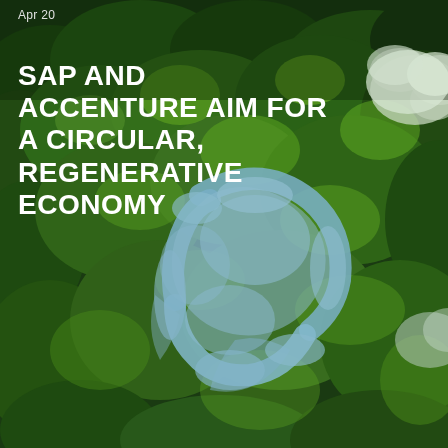[Figure (photo): Aerial view of a lush green rainforest with a circular river or water body forming a recycling/circular economy symbol shape in the center of the image. Clouds are visible on the right side of the image.]
Apr 20
SAP AND ACCENTURE AIM FOR A CIRCULAR, REGENERATIVE ECONOMY